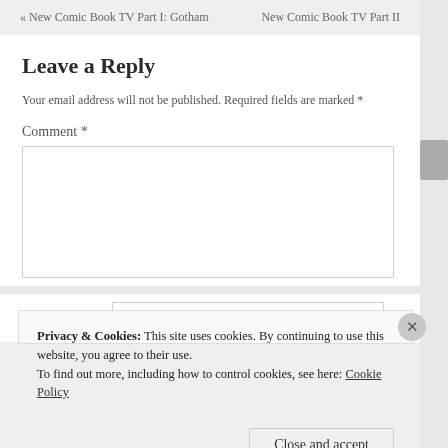« New Comic Book TV Part I: Gotham    New Comic Book TV Part II
Leave a Reply
Your email address will not be published. Required fields are marked *
Comment *
Name *
Privacy & Cookies: This site uses cookies. By continuing to use this website, you agree to their use. To find out more, including how to control cookies, see here: Cookie Policy
Close and accept